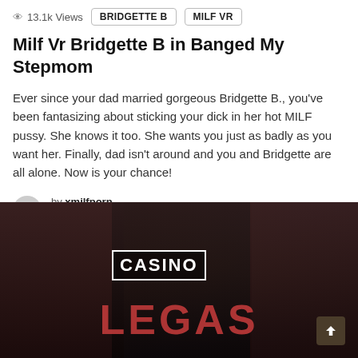13.1k Views   BRIDGETTE B   MILF VR
Milf Vr Bridgette B in Banged My Stepmom
Ever since your dad married gorgeous Bridgette B., you've been fantasizing about sticking your dick in her hot MILF pussy. She knows it too. She wants you just as badly as you want her. Finally, dad isn't around and you and Bridgette are all alone. Now is your chance!
by xmilfporn
June 28, 2021, 8:34 pm
[Figure (photo): Three women in a casino-themed setting with red curtains and neon lights in the background. Text 'CASINO' visible in center.]